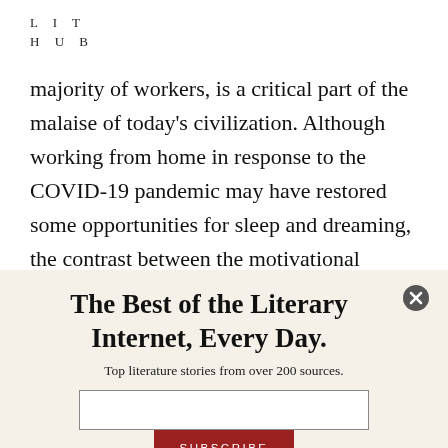LIT
HUB
majority of workers, is a critical part of the malaise of today's civilization. Although working from home in response to the COVID-19 pandemic may have restored some opportunities for sleep and dreaming, the contrast between the motivational relevance of
The Best of the Literary Internet, Every Day.
Top literature stories from over 200 sources.